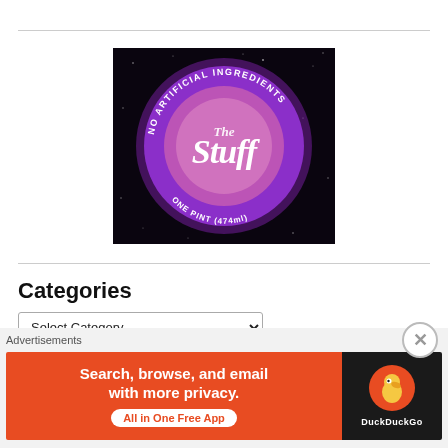[Figure (photo): A circular product logo/label for 'The Stuff' on a dark space-like background. The circle is purple/violet with text 'NO ARTIFICIAL INGREDIENTS' arcing along the top, 'The Stuff' in large stylized white script in the center, and 'ONE PINT (474ml)' along the bottom.]
Categories
Select Category
Advertisements
[Figure (screenshot): DuckDuckGo advertisement banner. Orange left panel says 'Search, browse, and email with more privacy.' with pill button 'All in One Free App'. Dark right panel shows DuckDuckGo duck logo and 'DuckDuckGo' text.]